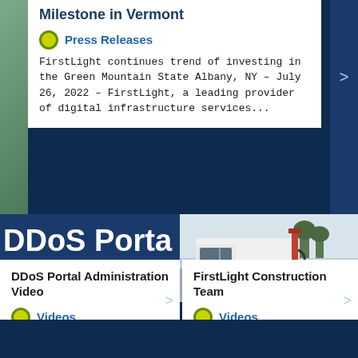Milestone in Vermont
Press Releases
FirstLight continues trend of investing in the Green Mountain State Albany, NY – July 26, 2022 – FirstLight, a leading provider of digital infrastructure services...
[Figure (screenshot): Dark blue panel with large white text reading 'DDoS Port...' partially visible]
[Figure (photo): Photo of a white construction truck at a gas station or worksite with trees in background]
DDoS Portal Administration Video
Videos
FirstLight Construction Team
Videos